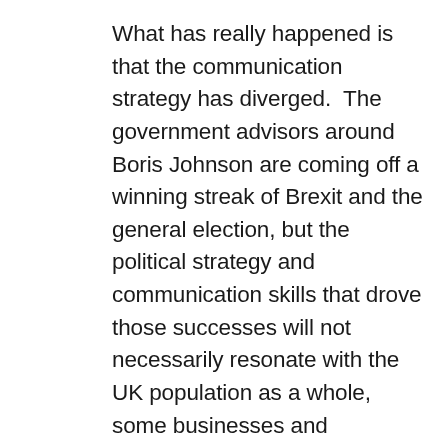What has really happened is that the communication strategy has diverged.  The government advisors around Boris Johnson are coming off a winning streak of Brexit and the general election, but the political strategy and communication skills that drove those successes will not necessarily resonate with the UK population as a whole, some businesses and individuals will have responded well to the UK governments more accelerated stance, some people will not. There is a need to communicate clear and consistent details that are understood by everybody and resist the urge to run a political strategy based on messaging to your target voters or core base which is